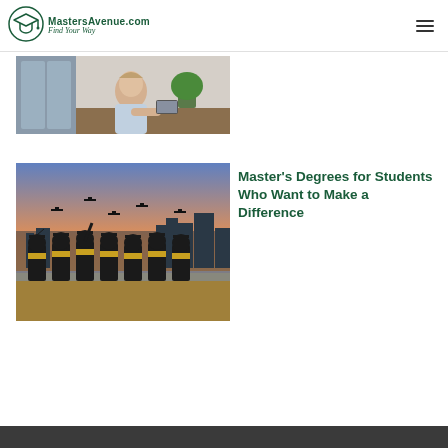MastersAvenue.com — Find Your Way
[Figure (photo): Partial photo of a woman sitting at a desk near a window, indoor setting with plants]
[Figure (photo): Group of graduates in black gowns and gold sashes tossing caps into the air against a dramatic sunset sky with a city skyline in the background]
Master's Degrees for Students Who Want to Make a Difference